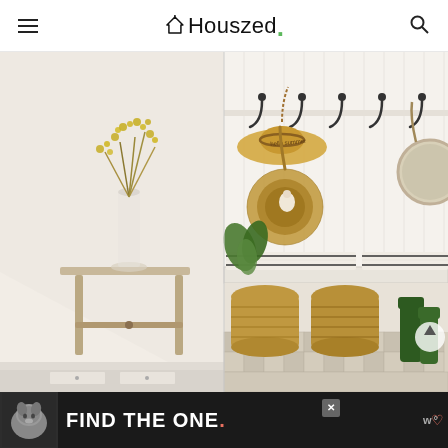Houszed.
[Figure (photo): Two interior home design photos side by side: left shows a minimalist entryway with a wooden console table and glass vase with yellow branches; right shows a mudroom with white beadboard walls, hooks with a straw hat and round wicker bag, a bench with striped cushions, wicker storage baskets underneath, green rain boots, and a patterned tile floor.]
[Figure (other): Advertisement banner with dark background featuring a dog image on the left and bold white text reading FIND THE ONE. with a heart icon, plus an X close button and a logo on the right.]